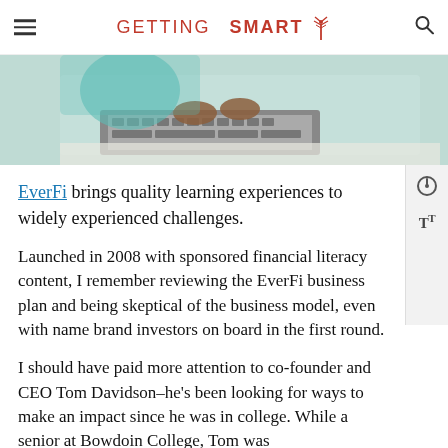GETTING SMART
[Figure (photo): Person typing on a laptop keyboard, wearing a teal/light blue top, photographed from above at an angle]
EverFi brings quality learning experiences to widely experienced challenges.
Launched in 2008 with sponsored financial literacy content, I remember reviewing the EverFi business plan and being skeptical of the business model, even with name brand investors on board in the first round.
I should have paid more attention to co-founder and CEO Tom Davidson–he's been looking for ways to make an impact since he was in college. While a senior at Bowdoin College, Tom was